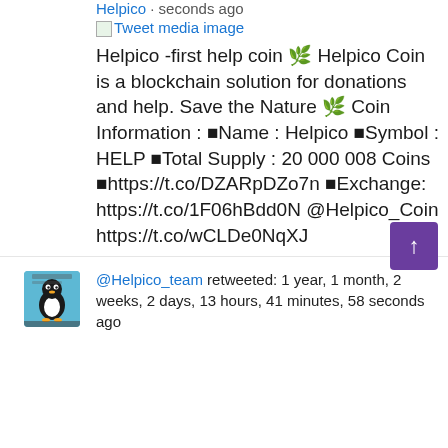Helpico · seconds ago
[Figure (screenshot): Tweet media image placeholder (broken image icon with link text 'Tweet media image')]
Helpico -first help coin 🌱 Helpico Coin is a blockchain solution for donations and help. Save the Nature 🌱 Coin Information : ■Name : Helpico ■Symbol : HELP ■Total Supply : 20 000 008 Coins ■https://t.co/DZARpDZo7n ■Exchange: https://t.co/1F06hBdd0N @Helpico_Coin https://t.co/wCLDe0NqXJ
@Helpico_team retweeted: 1 year, 1 month, 2 weeks, 2 days, 13 hours, 41 minutes, 58 seconds ago